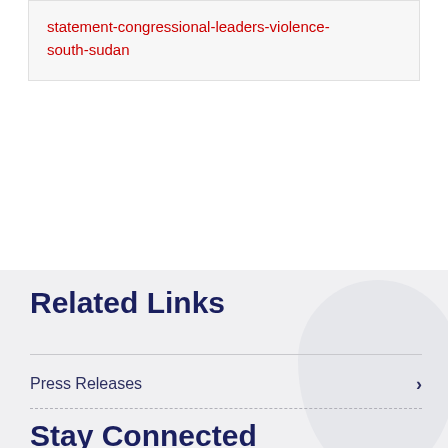statement-congressional-leaders-violence-south-sudan
Related Links
Press Releases
Stay Connected